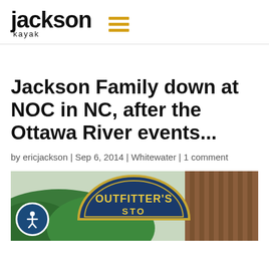Jackson Kayak
Jackson Family down at NOC in NC, after the Ottawa River events...
by ericjackson | Sep 6, 2014 | Whitewater | 1 comment
[Figure (photo): Photo of NOC Outfitter's Store sign with green hills and wooden building in the background. An accessibility icon button appears in the bottom left corner.]